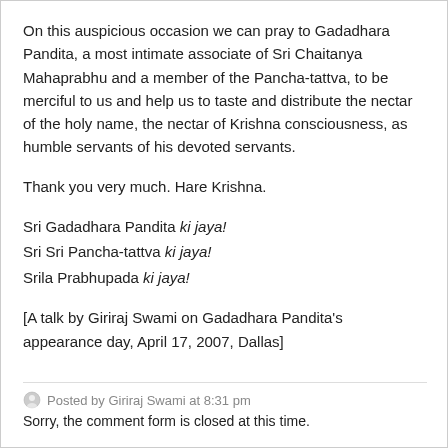On this auspicious occasion we can pray to Gadadhara Pandita, a most intimate associate of Sri Chaitanya Mahaprabhu and a member of the Pancha-tattva, to be merciful to us and help us to taste and distribute the nectar of the holy name, the nectar of Krishna consciousness, as humble servants of his devoted servants.
Thank you very much. Hare Krishna.
Sri Gadadhara Pandita ki jaya!
Sri Sri Pancha-tattva ki jaya!
Srila Prabhupada ki jaya!
[A talk by Giriraj Swami on Gadadhara Pandita's appearance day, April 17, 2007, Dallas]
Posted by Giriraj Swami at 8:31 pm
Sorry, the comment form is closed at this time.